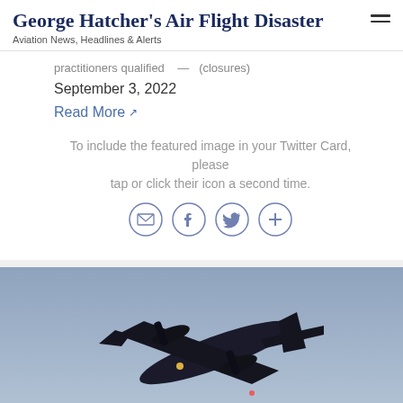George Hatcher's Air Flight Disaster
Aviation News, Headlines & Alerts
practitioners qualified — (closures)
September 3, 2022
Read More
To include the featured image in your Twitter Card, please tap or click their icon a second time.
[Figure (other): Social sharing icons: email, Facebook, Twitter/X, and a plus/more button, each in a circle outline in muted blue-purple color]
[Figure (photo): Dark silhouette of a large airplane (turboprop or jet) viewed from below against a grey-blue sky, with small red and white lights visible on the aircraft. A 'Generated by Feedzy' watermark is visible at the bottom right.]